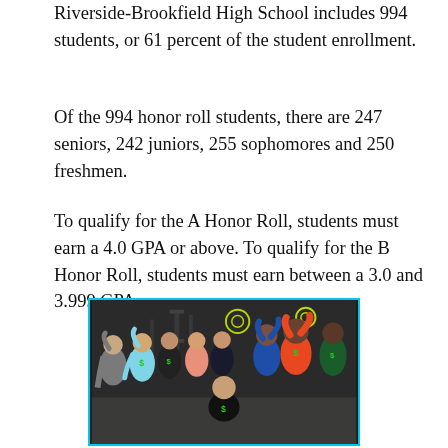Riverside-Brookfield High School includes 994 students, or 61 percent of the student enrollment.
Of the 994 honor roll students, there are 247 seniors, 242 juniors, 255 sophomores and 250 freshmen.
To qualify for the A Honor Roll, students must earn a 4.0 GPA or above. To qualify for the B Honor Roll, students must earn between a 3.0 and 3.999 GPA.
[Figure (photo): Group photo of people in a gym, flexing muscles, wearing dark athletic clothing with green logo accents, background shows gym equipment and a dark wall.]